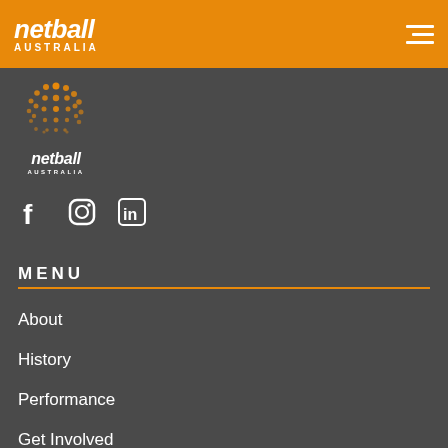netball AUSTRALIA
[Figure (logo): Netball Australia logo with orange dot-pattern globe and italic white 'netball' text with 'AUSTRALIA' beneath]
[Figure (infographic): Social media icons: Facebook (f), Instagram (square with circle), LinkedIn (in)]
MENU
About
History
Performance
Get Involved
Community